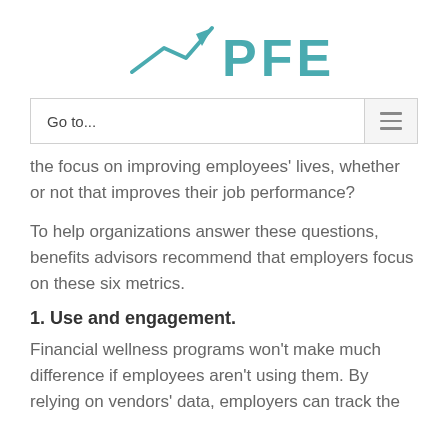[Figure (logo): PFEEF logo with upward-trending arrow graphic in teal color followed by 'PFEEF' text in large teal letters]
Go to...
the focus on improving employees' lives, whether or not that improves their job performance?
To help organizations answer these questions, benefits advisors recommend that employers focus on these six metrics.
1. Use and engagement.
Financial wellness programs won't make much difference if employees aren't using them. By relying on vendors' data, employers can track the